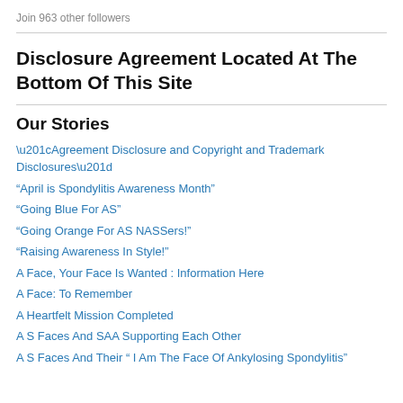Join 963 other followers
Disclosure Agreement Located At The Bottom Of This Site
Our Stories
“Agreement Disclosure and Copyright and Trademark Disclosures”
“April is Spondylitis Awareness Month”
“Going Blue For AS”
“Going Orange For AS NASSers!”
“Raising Awareness In Style!”
A Face, Your Face Is Wanted : Information Here
A Face: To Remember
A Heartfelt Mission Completed
A S Faces And SAA Supporting Each Other
A S Faces And Their “ I Am The Face Of Ankylosing Spondylitis”